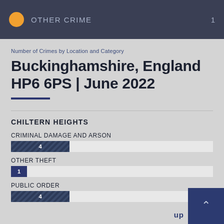OTHER CRIME  1
Number of Crimes by Location and Category
Buckinghamshire, England HP6 6PS | June 2022
CHILTERN HEIGHTS
CRIMINAL DAMAGE AND ARSON
[Figure (bar-chart): Criminal Damage and Arson]
OTHER THEFT
[Figure (bar-chart): Other Theft]
PUBLIC ORDER
[Figure (bar-chart): Public Order]